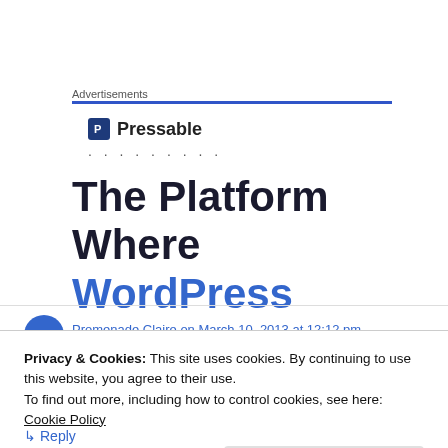Advertisements
[Figure (logo): Pressable logo with blue square icon and text 'Pressable']
· · · · · · · · ·
The Platform Where WordPress
Promenade Claire on March 10, 2013 at 12:12 pm
Privacy & Cookies: This site uses cookies. By continuing to use this website, you agree to their use.
To find out more, including how to control cookies, see here: Cookie Policy
Close and accept
↳ Reply